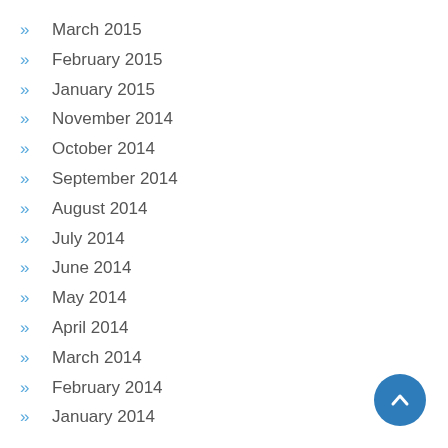March 2015
February 2015
January 2015
November 2014
October 2014
September 2014
August 2014
July 2014
June 2014
May 2014
April 2014
March 2014
February 2014
January 2014